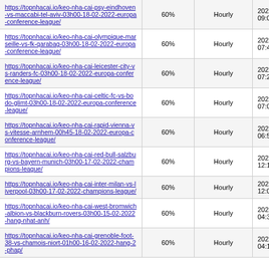| https://topnhacai.io/keo-nha-cai-psy-eindhoven-vs-maccabi-tel-aviv-03h00-18-02-2022-europa-conference-league/ | 60% | Hourly | 2022-02-14 09:01 |
| https://topnhacai.io/keo-nha-cai-olympique-marseille-vs-fk-qarabag-03h00-18-02-2022-europa-conference-league/ | 60% | Hourly | 2022-02-14 07:41 |
| https://topnhacai.io/keo-nha-cai-leicester-city-vs-randers-fc-03h00-18-02-2022-europa-conference-league/ | 60% | Hourly | 2022-02-14 07:23 |
| https://topnhacai.io/keo-nha-cai-celtic-fc-vs-bodo-glimt-03h00-18-02-2022-europa-conference-league/ | 60% | Hourly | 2022-02-14 07:09 |
| https://topnhacai.io/keo-nha-cai-rapid-vienna-vs-vitesse-arnhem-00h45-18-02-2022-europa-conference-league/ | 60% | Hourly | 2022-02-14 06:52 |
| https://topnhacai.io/keo-nha-cai-red-bull-salzburg-vs-bayern-munich-03h00-17-02-2022-champions-league/ | 60% | Hourly | 2022-02-13 12:17 |
| https://topnhacai.io/keo-nha-cai-inter-milan-vs-liverpool-03h00-17-02-2022-champions-league/ | 60% | Hourly | 2022-02-13 12:05 |
| https://topnhacai.io/keo-nha-cai-west-bromwich-albion-vs-blackburn-rovers-03h00-15-02-2022-hang-nhat-anh/ | 60% | Hourly | 2022-02-13 04:31 |
| https://topnhacai.io/keo-nha-cai-grenoble-foot-38-vs-chamois-niort-01h00-16-02-2022-hang-2-phap/ | 60% | Hourly | 2022-02-13 04:12 |